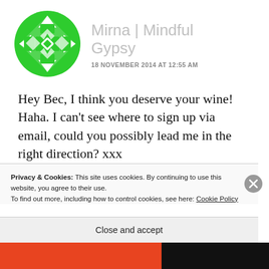[Figure (logo): Green circular logo with geometric diamond/cross pattern in white and green, representing Mindful Gypsy brand]
Mirna | Mindful Gypsy
18 NOVEMBER 2014 AT 12:55 AM
Hey Bec, I think you deserve your wine! Haha. I can't see where to sign up via email, could you possibly lead me in the right direction? xxx
Privacy & Cookies: This site uses cookies. By continuing to use this website, you agree to their use.
To find out more, including how to control cookies, see here: Cookie Policy
Close and accept